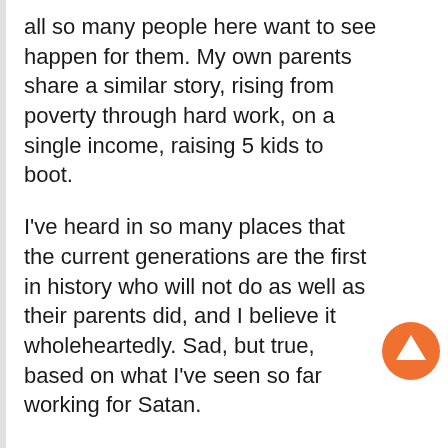all so many people here want to see happen for them. My own parents share a similar story, rising from poverty through hard work, on a single income, raising 5 kids to boot.
I've heard in so many places that the current generations are the first in history who will not do as well as their parents did, and I believe it wholeheartedly. Sad, but true, based on what I've seen so far working for Satan.
Yes, I definitely think the standard of living has declined. We all work so much harder here, and get so much less. And that's no secret; America no longer ranks as high as it once did on the standard of living charts compared to other countries